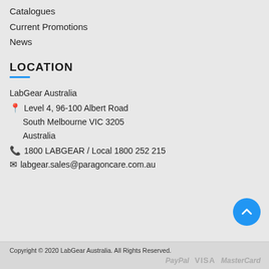Catalogues
Current Promotions
News
LOCATION
LabGear Australia
📍 Level 4, 96-100 Albert Road
 South Melbourne VIC 3205
 Australia
📞 1800 LABGEAR / Local 1800 252 215
✉ labgear.sales@paragoncare.com.au
[Figure (other): Blue circular back-to-top button with white upward chevron arrow]
Copyright © 2020 LabGear Australia. All Rights Reserved.
PayPal  VISA  MasterCard